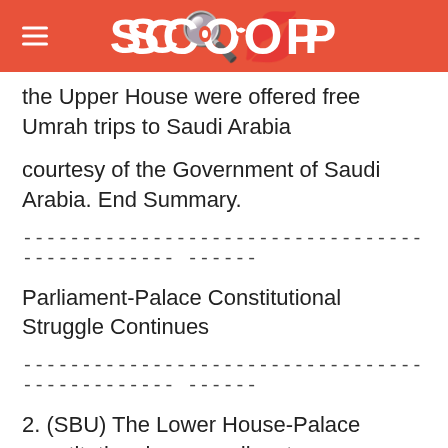SCOOP
the Upper House were offered free Umrah trips to Saudi Arabia
courtesy of the Government of Saudi Arabia. End Summary.
----------------------------------------------- ------
Parliament-Palace Constitutional Struggle Continues
----------------------------------------------- ------
2. (SBU) The Lower House-Palace constitutional powers dispute
lost no steam. Lower House Speaker Qanooni failed to
maintain quorum to override President Karzai's vetoes earlier
this year of bills setting the age of majority and